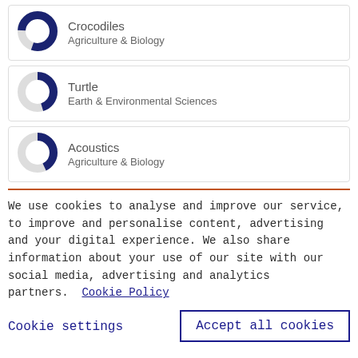Crocodiles — Agriculture & Biology
Turtle — Earth & Environmental Sciences
Acoustics — Agriculture & Biology
We use cookies to analyse and improve our service, to improve and personalise content, advertising and your digital experience. We also share information about your use of our site with our social media, advertising and analytics partners.  Cookie Policy
Cookie settings
Accept all cookies